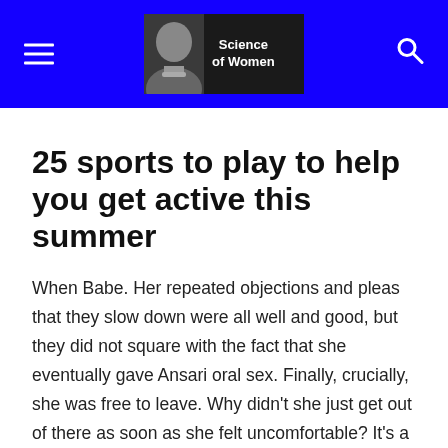Science of Women
25 sports to play to help you get active this summer
When Babe. Her repeated objections and pleas that they slow down were all well and good, but they did not square with the fact that she eventually gave Ansari oral sex. Finally, crucially, she was free to leave. Why didn't she just get out of there as soon as she felt uncomfortable? It's a rich question, and there are plenty of possible answers. But if you're asking in good faith, if you really want to think through why someone might have acted as she did, the most important one is this: Women are enculturated to be uncomfortable most of the time. And to ignore their